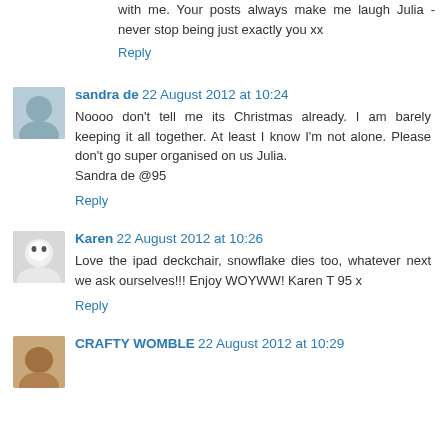with me. Your posts always make me laugh Julia - never stop being just exactly you xx
Reply
sandra de 22 August 2012 at 10:24
Noooo don't tell me its Christmas already. I am barely keeping it all together. At least I know I'm not alone. Please don't go super organised on us Julia.
Sandra de @95
Reply
Karen 22 August 2012 at 10:26
Love the ipad deckchair, snowflake dies too, whatever next we ask ourselves!!! Enjoy WOYWW! Karen T 95 x
Reply
CRAFTY WOMBLE 22 August 2012 at 10:29